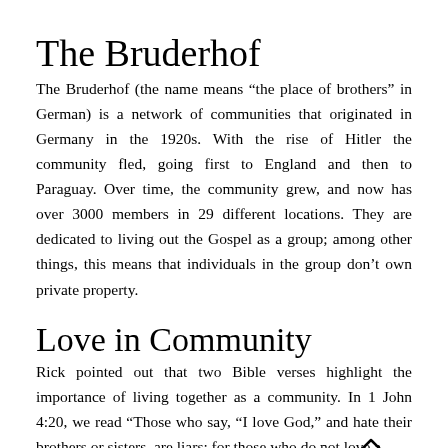The Bruderhof
The Bruderhof (the name means “the place of brothers” in German) is a network of communities that originated in Germany in the 1920s. With the rise of Hitler the community fled, going first to England and then to Paraguay. Over time, the community grew, and now has over 3000 members in 29 different locations. They are dedicated to living out the Gospel as a group; among other things, this means that individuals in the group don’t own private property.
Love in Community
Rick pointed out that two Bible verses highlight the importance of living together as a community. In 1 John 4:20, we read “Those who say, “I love God,” and hate their brothers or sisters, are liars; for those who do not love a